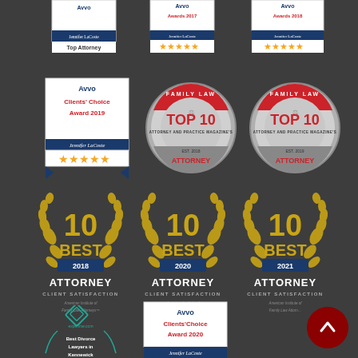[Figure (logo): Avvo Top Attorney badge (partial/cropped) for Jennifer LaCoste]
[Figure (logo): Avvo Awards 2017 badge with 5-star rating for Jennifer LaCoste (partial/cropped)]
[Figure (logo): Avvo Awards 2018 badge with 5-star rating for Jennifer LaCoste (partial/cropped)]
[Figure (logo): Avvo Clients' Choice Award 2019 badge with 5-star rating for Jennifer LaCoste]
[Figure (logo): Family Law Top 10 Attorney and Practice Magazine 2018 seal]
[Figure (logo): Family Law Top 10 Attorney and Practice Magazine seal (second instance)]
[Figure (logo): 10 Best Attorney Client Satisfaction 2018 - American Institute of Family Law Attorneys]
[Figure (logo): 10 Best Attorney Client Satisfaction 2020 - American Institute of Family Law Attorneys]
[Figure (logo): 10 Best Attorney Client Satisfaction 2021 - American Institute of Family Law Attorneys]
[Figure (logo): Best Divorce Lawyers in Kennewick badge (partial)]
[Figure (logo): Avvo Clients' Choice Award 2020 badge for Jennifer LaCoste (partial)]